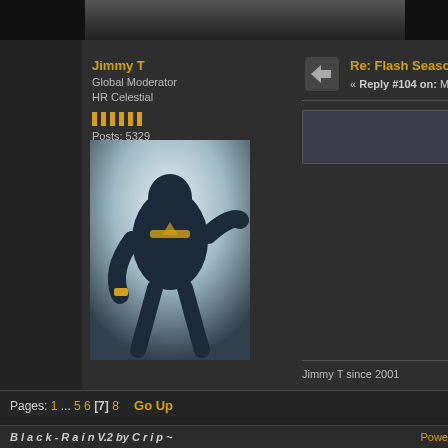[Figure (screenshot): Top strip showing partial comic artwork image]
Jimmy T
Global Moderator
HR Celestial
Posts: 5329
[Figure (illustration): Comic book avatar showing a dark muscular superhero figure in black and gold costume leaping/running]
Re: Flash Season 1
« Reply #104 on: May 29, 2015,
Show hidden content (spoiler)
Jimmy T since 2001
Pages: 1 ... 5 6 [7] 8   Go Up
Black-Rain V.2 by Crip~   Powe